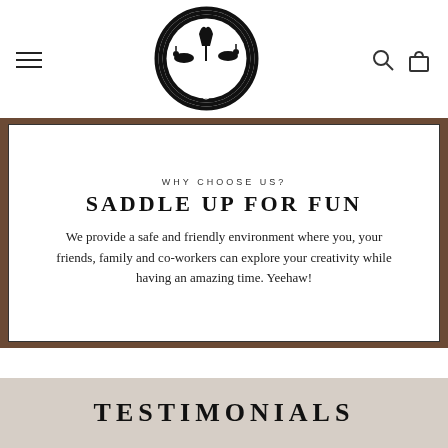[Figure (logo): Hammer & Stain Ocala circular logo with silhouettes of horses and riders, palm trees, and text 'HAMMER & Stain OCALA']
WHY CHOOSE US?
SADDLE UP FOR FUN
We provide a safe and friendly environment where you, your friends, family and co-workers can explore your creativity while having an amazing time. Yeehaw!
TESTIMONIALS